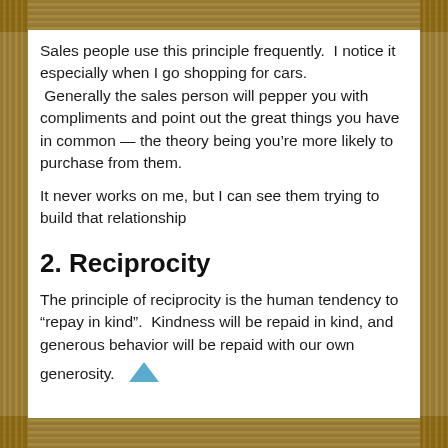Sales people use this principle frequently.  I notice it especially when I go shopping for cars.  Generally the sales person will pepper you with compliments and point out the great things you have in common — the theory being you’re more likely to purchase from them.
It never works on me, but I can see them trying to build that relationship
2. Reciprocity
The principle of reciprocity is the human tendency to “repay in kind”.  Kindness will be repaid in kind, and generous behavior will be repaid with our own generosity.